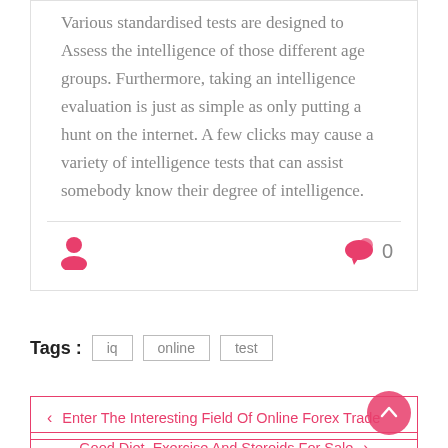Various standardised tests are designed to Assess the intelligence of those different age groups. Furthermore, taking an intelligence evaluation is just as simple as only putting a hunt on the internet. A few clicks may cause a variety of intelligence tests that can assist somebody know their degree of intelligence.
[Figure (infographic): User icon (person silhouette) in pink/red on the left, and a speech bubble comment icon in pink/red with count '0' on the right, separated by a horizontal divider line — forming an article meta/author bar.]
Tags : iq online test
< Enter The Interesting Field Of Online Forex Trade
Good Diet, Exercise And Steroids For Sale >